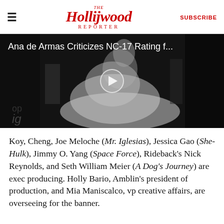The Hollywood Reporter | SUBSCRIBE
[Figure (screenshot): Video thumbnail showing a grayscale image of a figure in a white billowing dress (Marilyn Monroe pose) with overlay text: 'Ana de Armas Criticizes NC-17 Rating f...' and a play button in the center]
Koy, Cheng, Joe Meloche (Mr. Iglesias), Jessica Gao (She-Hulk), Jimmy O. Yang (Space Force), Rideback's Nick Reynolds, and Seth William Meier (A Dog's Journey) are exec producing. Holly Bario, Amblin's president of production, and Mia Maniscalco, vp creative affairs, are overseeing for the banner.